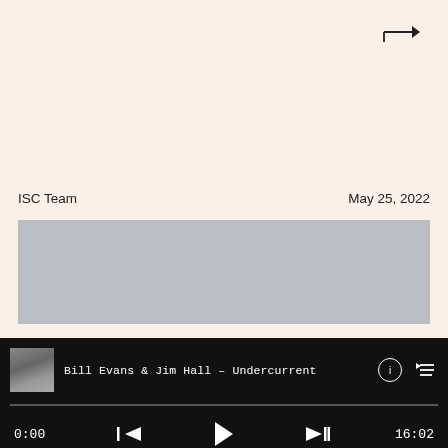→
ISC Team    May 25, 2022
[Figure (photo): Gray placeholder image area]
Bill Evans & Jim Hall – Undercurrent  0:00  16:02